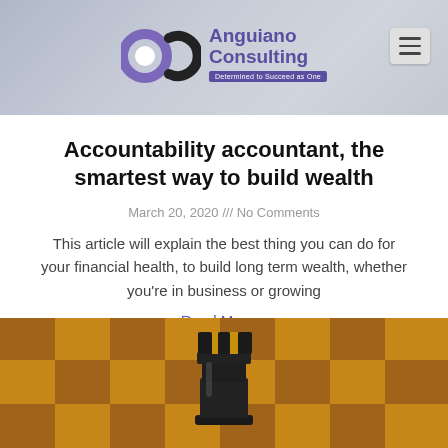[Figure (logo): Anguiano Consulting logo with 'ac' letters and tagline 'Determined to Succeed as One']
Accountability accountant, the smartest way to build wealth
March 20, 2020 /// No Comments
This article will explain the best thing you can do for your financial health, to build long term wealth, whether you're in business or growing
Read More »
[Figure (photo): Close-up photo of a black chess rook piece standing on a yellow and brown checkered chess board]